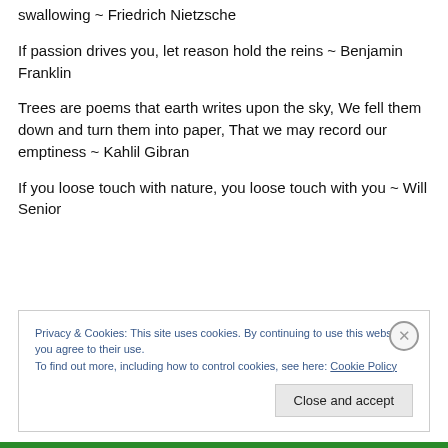swallowing ~ Friedrich Nietzsche
If passion drives you, let reason hold the reins ~ Benjamin Franklin
Trees are poems that earth writes upon the sky, We fell them down and turn them into paper, That we may record our emptiness ~ Kahlil Gibran
If you loose touch with nature, you loose touch with you ~ Will Senior
Privacy & Cookies: This site uses cookies. By continuing to use this website, you agree to their use.
To find out more, including how to control cookies, see here: Cookie Policy
Close and accept